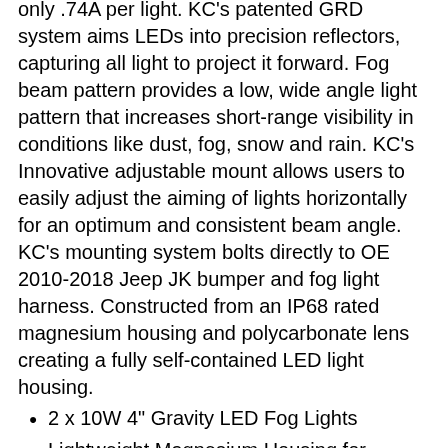only .74A per light. KC's patented GRD system aims LEDs into precision reflectors, capturing all light to project it forward. Fog beam pattern provides a low, wide angle light pattern that increases short-range visibility in conditions like dust, fog, snow and rain. KC's Innovative adjustable mount allows users to easily adjust the aiming of lights horizontally for an optimum and consistent beam angle. KC's mounting system bolts directly to OE 2010-2018 Jeep JK bumper and fog light harness. Constructed from an IP68 rated magnesium housing and polycarbonate lens creating a fully self-contained LED light housing.
2 x 10W 4" Gravity LED Fog Lights
Lightweight Magnesium Housing for Maximum Heat Dissipation
Street Legal 10-18 Jeep JK Application
Shatter-Resistant Polycarbonate Lens
Fog Beam Pattern – SAE & ECE Street Legal